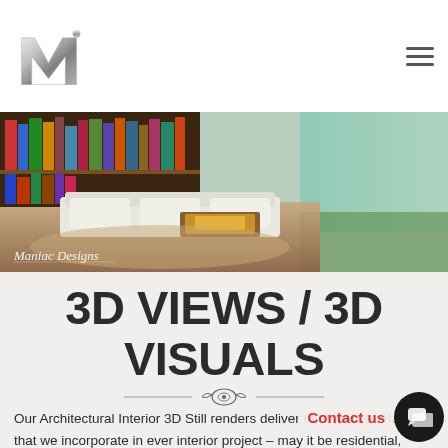Maniac Designs — website header with logo and navigation menu
[Figure (photo): Interior design hero image showing a modern living space with bookshelves, sofa, and warm lighting. 'Maniac Designs' watermark text visible at bottom left.]
3D VIEWS / 3D VISUALS
[Figure (illustration): Ornamental decorative divider with scrollwork design]
Our Architectural Interior 3D Still renders deliver the level of detailing that we incorporate in ever interior project – may it be residential, commercial, institutional or public utility. We use 3D views to fullest of effect to conveniently apply changes in color, patterns, edges, fittings, and planning in the project The 3D Interior R... at... l of every building. Our team enhances the same using latest 3D ... visualization tools to give a realistic feel. This can help everyone visualize